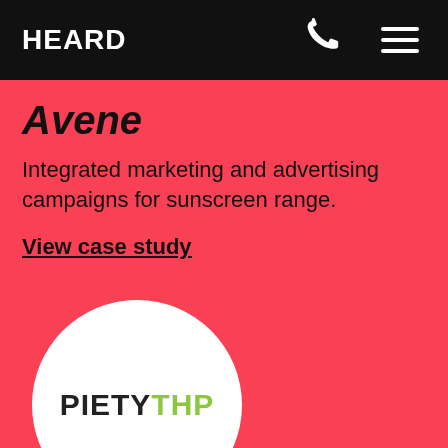HEARD
Avene
Integrated marketing and advertising campaigns for sunscreen range.
View case study
[Figure (logo): PietyTHP logo in a white circle on a pink/red background. The word PIETY is in dark/black and THP is in green.]
Piety
Brand and integrated marketing strategy for Ke...